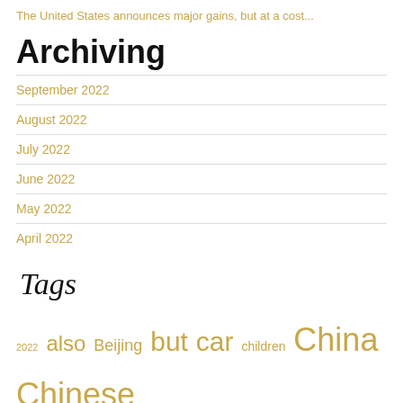The United States announces major gains, but at a cost...
Archiving
September 2022
August 2022
July 2022
June 2022
May 2022
April 2022
Tags
2022 also Beijing but car children China Chinese city construction control county do epidemic February